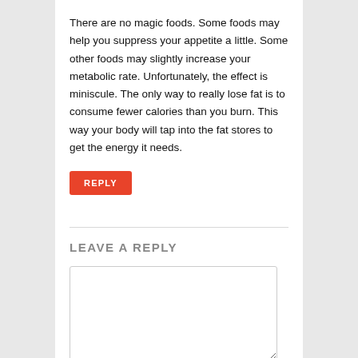There are no magic foods. Some foods may help you suppress your appetite a little. Some other foods may slightly increase your metabolic rate. Unfortunately, the effect is miniscule. The only way to really lose fat is to consume fewer calories than you burn. This way your body will tap into the fat stores to get the energy it needs.
REPLY
LEAVE A REPLY
Name *